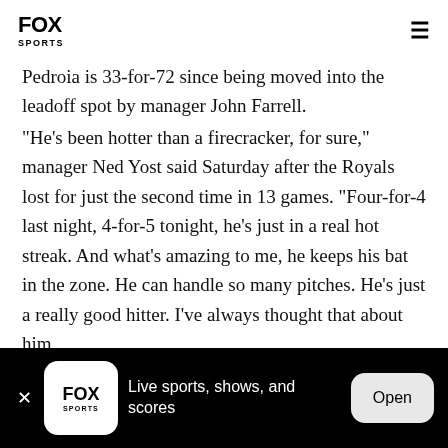FOX SPORTS
Pedroia is 33-for-72 since being moved into the leadoff spot by manager John Farrell.
"He's been hotter than a firecracker, for sure," manager Ned Yost said Saturday after the Royals lost for just the second time in 13 games. "Four-for-4 last night, 4-for-5 tonight, he's just in a real hot streak. And what's amazing to me, he keeps his bat in the zone. He can handle so many pitches. He's just a really good hitter. I've always thought that about him,
FOX SPORTS — Live sports, shows, and scores — Open